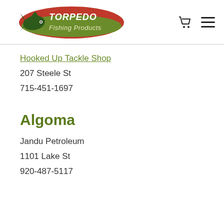Torpedo Fishing Products
Hooked Up Tackle Shop
207 Steele St
715-451-1697
Algoma
Jandu Petroleum
1101 Lake St
920-487-5117